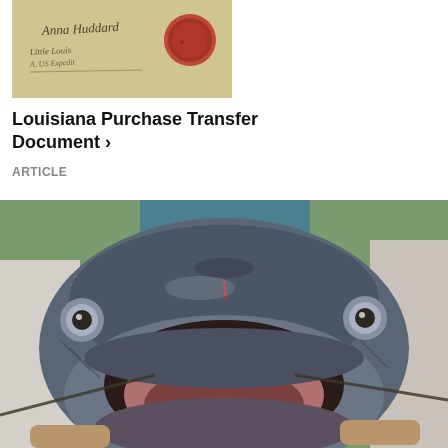[Figure (photo): Historical document resembling the Louisiana Purchase Transfer Document with cursive handwriting and a red wax seal]
Louisiana Purchase Transfer Document ›
ARTICLE
[Figure (photo): Close-up photo of a catfish face being held by a person, mouth open wide showing the inside, with eyes visible on both sides]